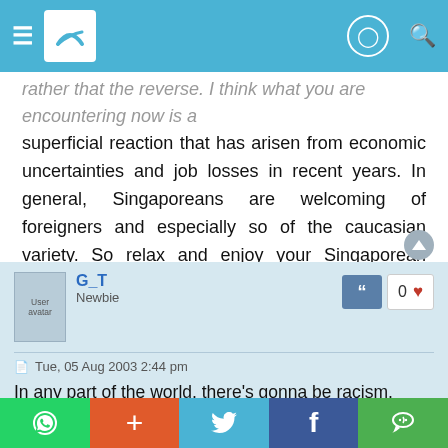Navigation bar with menu, logo, profile and search icons
rather that the reverse. I think what you are encountering now is a superficial reaction that has arisen from economic uncertainties and job losses in recent years. In general, Singaporeans are welcoming of foreigners and especially so of the caucasian variety. So relax and enjoy your Singaporean friends and try to disabuse them of the wrong idea that you've come here to replace them or their compatriots of their job. 😎:
G_T
Newbie
Tue, 05 Aug 2003 2:44 pm
In any part of the world, there's gonna be racism, whether u like it
Share buttons: WhatsApp, +, Twitter, Facebook, WeChat